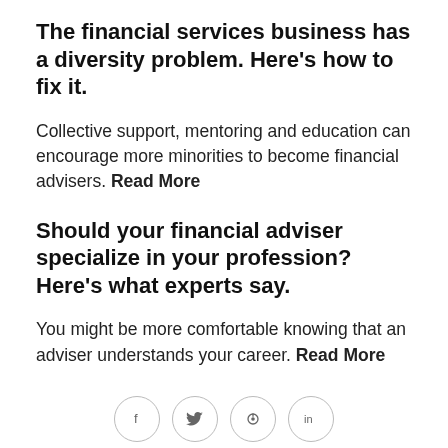The financial services business has a diversity problem. Here’s how to fix it.
Collective support, mentoring and education can encourage more minorities to become financial advisers. Read More
Should your financial adviser specialize in your profession? Here’s what experts say.
You might be more comfortable knowing that an adviser understands your career. Read More
[Figure (other): Social media share icons: Facebook (f), Twitter (bird), Pinterest (p), LinkedIn (in)]